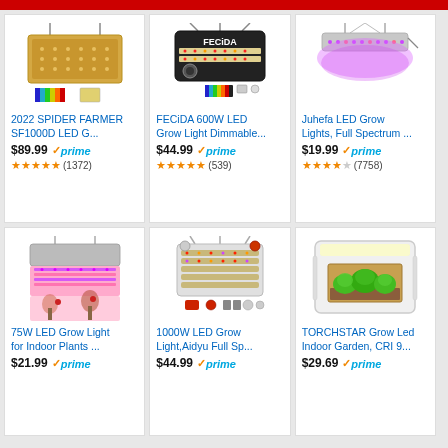[Figure (screenshot): Amazon product grid showing 6 LED grow light products]
2022 SPIDER FARMER SF1000D LED G...
$89.99 prime (1372 reviews)
FECiDA 600W LED Grow Light Dimmable...
$44.99 prime (539 reviews)
Juhefa LED Grow Lights, Full Spectrum ...
$19.99 prime (7758 reviews)
75W LED Grow Light for Indoor Plants ...
$21.99 prime
1000W LED Grow Light,Aidyu Full Sp...
$44.99 prime
TORCHSTAR Grow Led Indoor Garden, CRI 9...
$29.69 prime